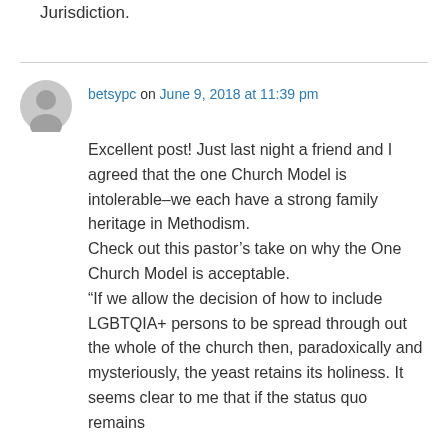Jurisdiction.
betsypc on June 9, 2018 at 11:39 pm
Excellent post! Just last night a friend and I agreed that the one Church Model is intolerable–we each have a strong family heritage in Methodism.
Check out this pastor's take on why the One Church Model is acceptable.
“If we allow the decision of how to include LGBTQIA+ persons to be spread through out the whole of the church then, paradoxically and mysteriously, the yeast retains its holiness. It seems clear to me that if the status quo remains